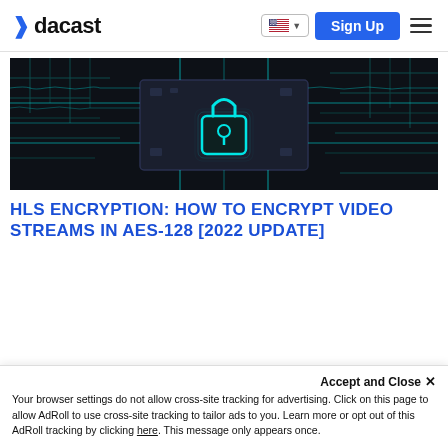dacast — Sign Up navigation bar with language selector and hamburger menu
[Figure (photo): Dark circuit board with a glowing cyan padlock icon in the center, representing digital security and encryption]
HLS ENCRYPTION: HOW TO ENCRYPT VIDEO STREAMS IN AES-128 [2022 UPDATE]
Accept and Close ×
Your browser settings do not allow cross-site tracking for advertising. Click on this page to allow AdRoll to use cross-site tracking to tailor ads to you. Learn more or opt out of this AdRoll tracking by clicking here. This message only appears once.